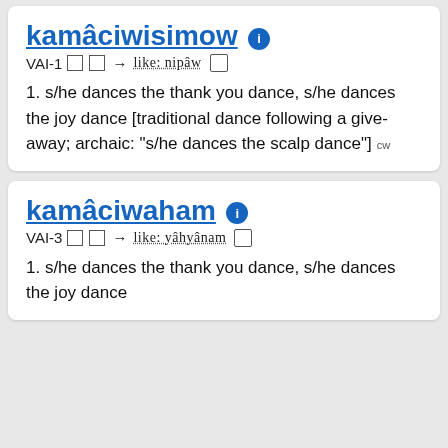kamâciwisimow
VAI-1 □□→ like: nipâw □
1. s/he dances the thank you dance, s/he dances the joy dance [traditional dance following a give-away; archaic: "s/he dances the scalp dance"] cw
kamâciwaham
VAI-3 □□→ like: yâhyânam □
1. s/he dances the thank you dance, s/he dances the joy dance